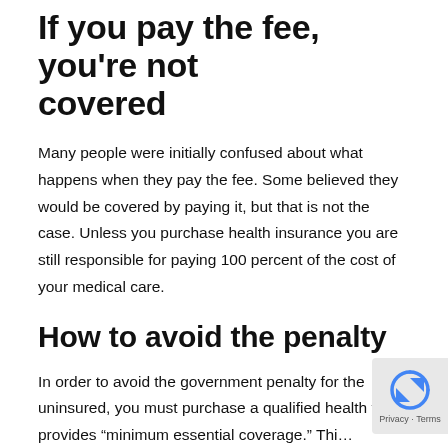If you pay the fee, you're not covered
Many people were initially confused about what happens when they pay the fee. Some believed they would be covered by paying it, but that is not the case. Unless you purchase health insurance you are still responsible for paying 100 percent of the cost of your medical care.
How to avoid the penalty
In order to avoid the government penalty for the uninsured, you must purchase a qualified health that provides “minimum essential coverage.” Thi…